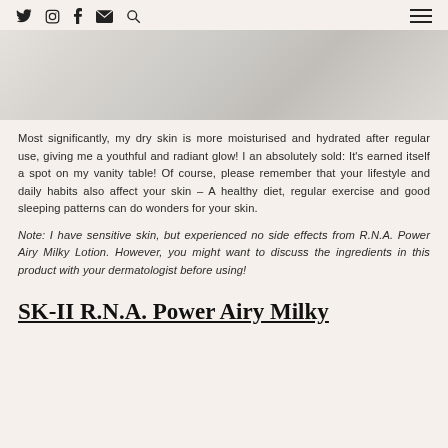[social icons: Twitter, Instagram, Facebook, Email, Search] [hamburger menu]
[Figure (photo): Close-up photo of a light-coloured surface, likely a skincare product or skin, with soft lighting and neutral tones]
Most significantly, my dry skin is more moisturised and hydrated after regular use, giving me a youthful and radiant glow! I an absolutely sold: It's earned itself a spot on my vanity table! Of course, please remember that your lifestyle and daily habits also affect your skin – A healthy diet, regular exercise and good sleeping patterns can do wonders for your skin.
Note: I have sensitive skin, but experienced no side effects from R.N.A. Power Airy Milky Lotion. However, you might want to discuss the ingredients in this product with your dermatologist before using!
SK-II R.N.A. Power Airy Milky